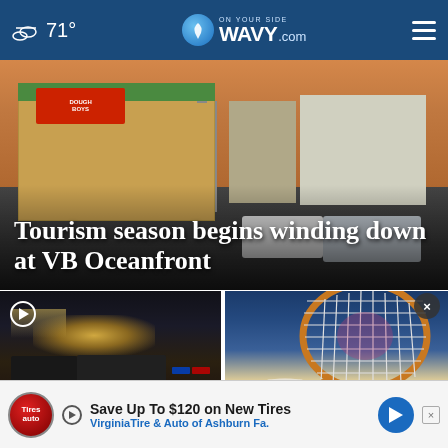71° WAVY.com On Your Side
[Figure (photo): Street scene at VB Oceanfront showing Dough Boys restaurant, cars in traffic, buildings at dusk/sunset]
Tourism season begins winding down at VB Oceanfront
[Figure (photo): Nighttime parking lot scene with police lights, blurry activity]
[Figure (photo): Tennis player holding racket up, close-up of racket strings with orange frame]
Man pro... dead on f...
Serena loses at...
Save Up To $120 on New Tires VirginiaTire & Auto of Ashburn Fa.